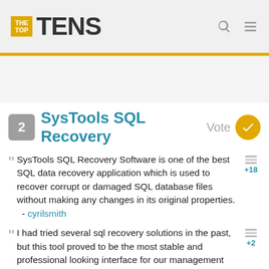[Figure (logo): TheTopTens website logo with orange box containing 'THE TOP' text and 'TENS' in large dark letters, plus search and menu icons]
2 SysTools SQL Recovery Vote
SysTools SQL Recovery Software is one of the best SQL data recovery application which is used to recover corrupt or damaged SQL database files without making any changes in its original properties. - cyrilsmith +18
I had tried several sql recovery solutions in the past, but this tool proved to be the most stable and professional looking interface for our management console. +2
SQL recovery tool has helped me very much to